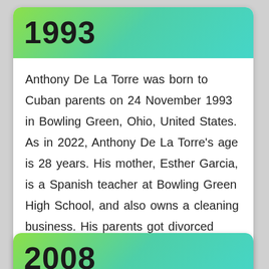1993
Anthony De La Torre was born to Cuban parents on 24 November 1993 in Bowling Green, Ohio, United States. As in 2022, Anthony De La Torre’s age is 28 years. His mother, Esther Garcia, is a Spanish teacher at Bowling Green High School, and also owns a cleaning business. His parents got divorced shortly after his birth. Anthony De La Torre has one older brother, Nicolas, and one older sister, Angelica.
2008